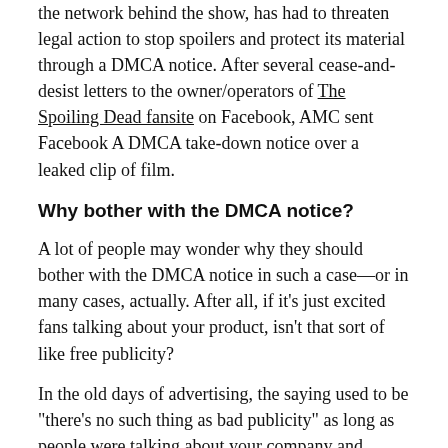the network behind the show, has had to threaten legal action to stop spoilers and protect its material through a DMCA notice. After several cease-and-desist letters to the owner/operators of The Spoiling Dead fansite on Facebook, AMC sent Facebook A DMCA take-down notice over a leaked clip of film.
Why bother with the DMCA notice?
A lot of people may wonder why they should bother with the DMCA notice in such a case—or in many cases, actually. After all, if it's just excited fans talking about your product, isn't that sort of like free publicity?
In the old days of advertising, the saying used to be "there's no such thing as bad publicity" as long as people were talking about your company and product. These days, however, even small companies have things that they should protect:
The creative works themselves—if you don't aggressively protect your product, you can lose exclusive rights to it.
Your company and brand recognition—you want to maintain a certain presence across your brand, not trust that others are going to do it for you the way that you'd prefer.
Your pricing disclaimer or associated legal documents...